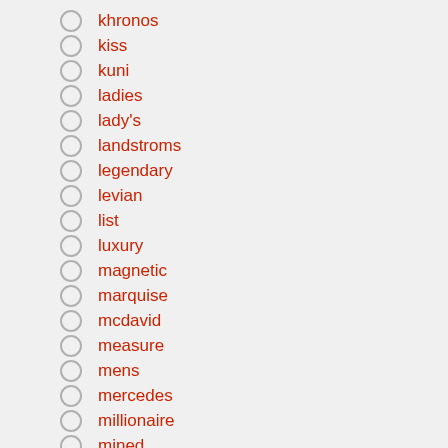khronos
kiss
kuni
ladies
lady's
landstroms
legendary
levian
list
luxury
magnetic
marquise
mcdavid
measure
mens
mercedes
millionaire
mined